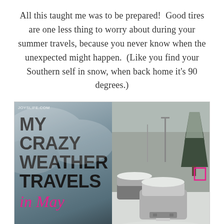All this taught me was to be prepared!  Good tires are one less thing to worry about during your summer travels, because you never know when the unexpected might happen.  (Like you find your Southern self in snow, when back home it's 90 degrees.)
[Figure (photo): Composite image: left half shows a dark stormy sky background with text 'JOYSLIFE.COM' at top and bold black text 'MY CRAZY WEATHER TRAVELS' with pink cursive 'in May' below; right half shows a snow-covered parking lot with cars covered in snow and snow-covered trees, with a pink rectangle highlight in the right area.]